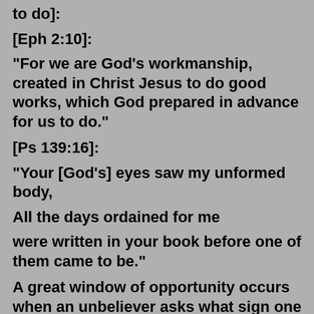to do]:
[Eph 2:10]:
"For we are God's workmanship, created in Christ Jesus to do good works, which God prepared in advance for us to do."
[Ps 139:16]:
"Your [God's] eyes saw my unformed body,
All the days ordained for me
were written in your book before one of them came to be."
A great window of opportunity occurs when an unbeliever asks what sign one is